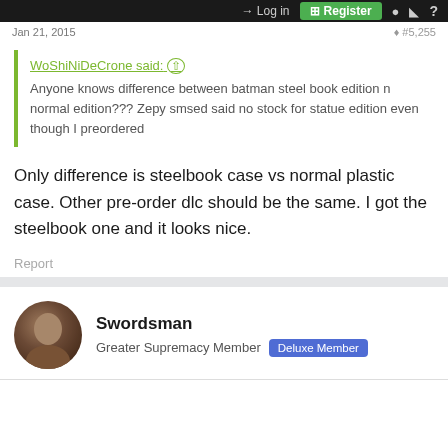→ Log in  [+] Register
Jan 21, 2015
WoShiNiDeCrone said: ↑
Anyone knows difference between batman steel book edition n normal edition??? Zepy smsed said no stock for statue edition even though I preordered
Only difference is steelbook case vs normal plastic case. Other pre-order dlc should be the same. I got the steelbook one and it looks nice.
Report
Swordsman
Greater Supremacy Member  Deluxe Member